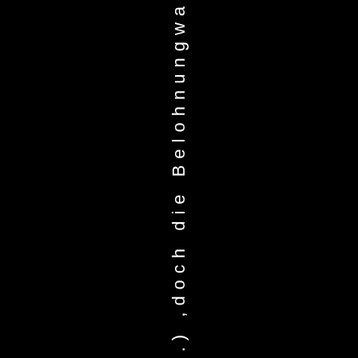ahrt ...) ,doch die Belohnungwa